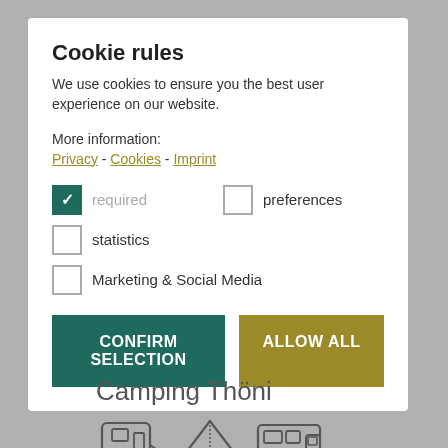Cookie rules
We use cookies to ensure you the best user experience on our website.
More information:
Privacy - Cookies - Imprint
required (checked)
preferences (unchecked)
statistics (unchecked)
Marketing & Social Media (unchecked)
CONFIRM SELECTION
ALLOW ALL
Camping Thöni
[Figure (illustration): Three camping icons: a caravan trailer, a tent, and a camper van]